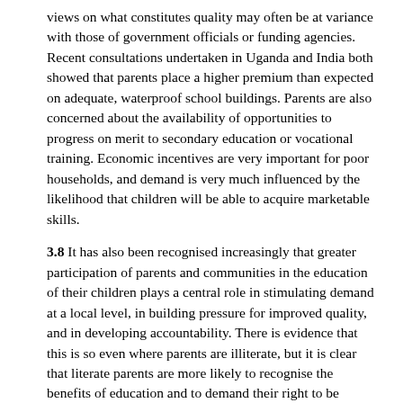views on what constitutes quality may often be at variance with those of government officials or funding agencies. Recent consultations undertaken in Uganda and India both showed that parents place a higher premium than expected on adequate, waterproof school buildings. Parents are also concerned about the availability of opportunities to progress on merit to secondary education or vocational training. Economic incentives are very important for poor households, and demand is very much influenced by the likelihood that children will be able to acquire marketable skills.
3.8 It has also been recognised increasingly that greater participation of parents and communities in the education of their children plays a central role in stimulating demand at a local level, in building pressure for improved quality, and in developing accountability. There is evidence that this is so even where parents are illiterate, but it is clear that literate parents are more likely to recognise the benefits of education and to demand their right to be consulted, and to hold teachers and officials accountable.